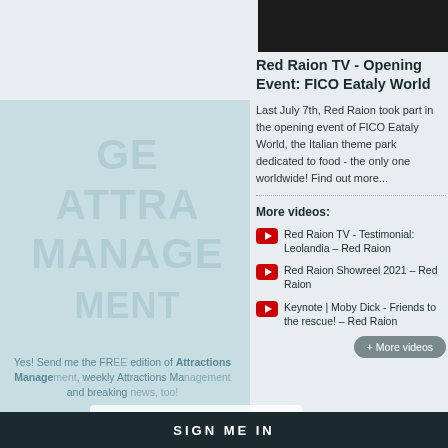[Figure (screenshot): Dark video thumbnail at top right of page]
Red Raion TV - Opening Event: FICO Eataly World
Last July 7th, Red Raion took part in the opening event of FICO Eataly World, the Italian theme park dedicated to food - the only one worldwide! Find out more...
More videos:
Red Raion TV - Testimonial: Leolandia – Red Raion
Red Raion Showreel 2021 – Red Raion
Keynote | Moby Dick - Friends to the rescue! – Red Raion
Yes! Send me the FREE edition of Attractions Management, weekly Attractions Management and breaking news, too!
First name
Your email address
SIGN ME IN